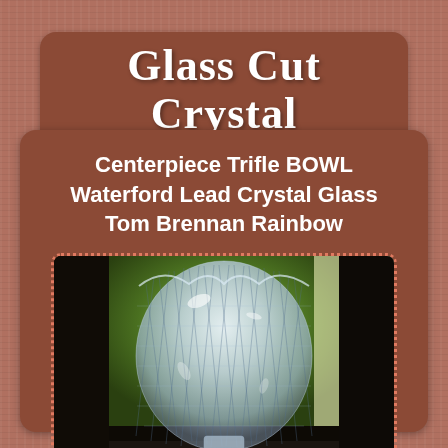Glass Cut Crystal
Centerpiece Trifle BOWL Waterford Lead Crystal Glass Tom Brennan Rainbow
[Figure (photo): Photo of a Waterford lead crystal trifle bowl with intricate diamond cut pattern, displayed on a dark surface with green foliage visible through a window in the background. An eBay watermark appears at the bottom.]